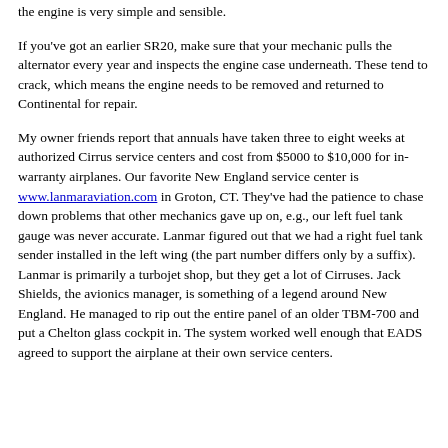the engine is very simple and sensible.
If you've got an earlier SR20, make sure that your mechanic pulls the alternator every year and inspects the engine case underneath. These tend to crack, which means the engine needs to be removed and returned to Continental for repair.
My owner friends report that annuals have taken three to eight weeks at authorized Cirrus service centers and cost from $5000 to $10,000 for in-warranty airplanes. Our favorite New England service center is www.lanmaraviation.com in Groton, CT. They've had the patience to chase down problems that other mechanics gave up on, e.g., our left fuel tank gauge was never accurate. Lanmar figured out that we had a right fuel tank sender installed in the left wing (the part number differs only by a suffix). Lanmar is primarily a turbojet shop, but they get a lot of Cirruses. Jack Shields, the avionics manager, is something of a legend around New England. He managed to rip out the entire panel of an older TBM-700 and put a Chelton glass cockpit in. The system worked well enough that EADS agreed to support the airplane at their own service centers.